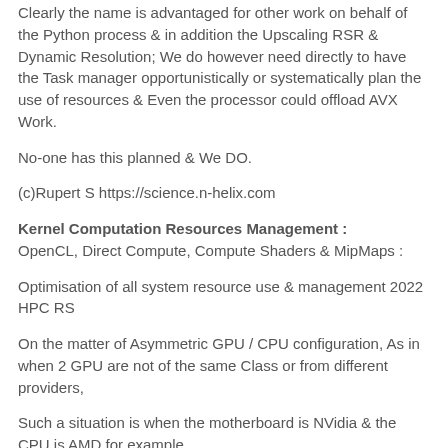Clearly the name is advantaged for other work on behalf of the Python process & in addition the Upscaling RSR & Dynamic Resolution; We do however need directly to have the Task manager opportunistically or systematically plan the use of resources & Even the processor could offload AVX Work.
No-one has this planned & We DO.
(c)Rupert S https://science.n-helix.com
Kernel Computation Resources Management :
OpenCL, Direct Compute, Compute Shaders & MipMaps :
Optimisation of all system resource use & management 2022 HPC RS
On the matter of Asymmetric GPU / CPU configuration, As in when 2 GPU are not of the same Class or from different providers,
Such a situation is when the motherboard is NVidia & the CPU is AMD for example,